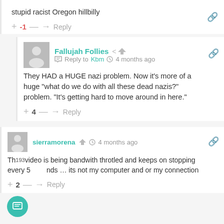stupid racist Oregon hillbilly
+ -1 — → Reply
Fallujah Follies
Reply to Kbm · 4 months ago
They HAD a HUGE nazi problem. Now it's more of a huge "what do we do with all these dead nazis?" problem. "It's getting hard to move around in here."
+ 4 — → Reply
sierramorena · 4 months ago
This video is being bandwith throtled and keeps on stopping every 5 seconds ... its not my computer and or my connection
+ 2 — → Reply